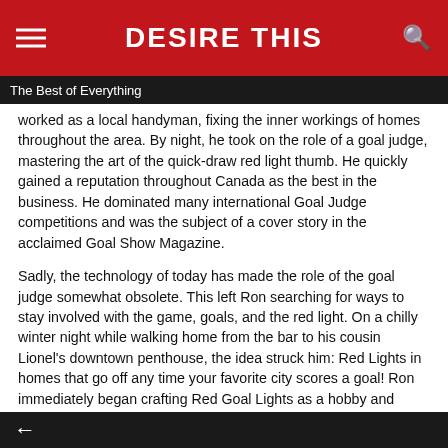DESIRE THIS
The Best of Everything
worked as a local handyman, fixing the inner workings of homes throughout the area. By night, he took on the role of a goal judge, mastering the art of the quick-draw red light thumb. He quickly gained a reputation throughout Canada as the best in the business. He dominated many international Goal Judge competitions and was the subject of a cover story in the acclaimed Goal Show Magazine.
Sadly, the technology of today has made the role of the goal judge somewhat obsolete. This left Ron searching for ways to stay involved with the game, goals, and the red light. On a chilly winter night while walking home from the bar to his cousin Lionel's downtown penthouse, the idea struck him: Red Lights in homes that go off any time your favorite city scores a goal! Ron immediately began crafting Red Goal Lights as a hobby and installing them in the homes of his hockey-loving buddies. Thankfully, Budweiser caught wind of this. They noticed Ron's passion for the Red Light and his expertise around this craft.
Inspired by his story, Budweiser approached Ron to help him turn his hobby into his dreams, an actual business with Ron at the helm. The rest is history. Together, Budweiser and Ron are bringing goal scoring excitement to beer
←